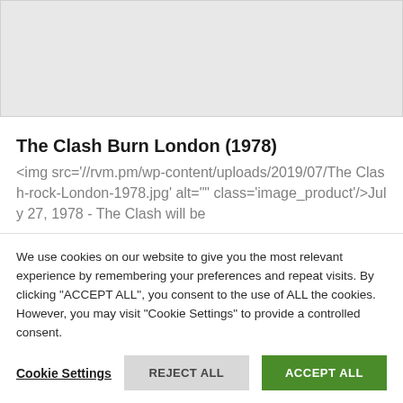[Figure (photo): Light gray image placeholder area at top of page]
The Clash Burn London (1978)
<img src='//rvm.pm/wp-content/uploads/2019/07/The Clash-rock-London-1978.jpg' alt="" class='image_product'/>July 27, 1978 - The Clash will be
We use cookies on our website to give you the most relevant experience by remembering your preferences and repeat visits. By clicking "ACCEPT ALL", you consent to the use of ALL the cookies. However, you may visit "Cookie Settings" to provide a controlled consent.
Cookie Settings   REJECT ALL   ACCEPT ALL